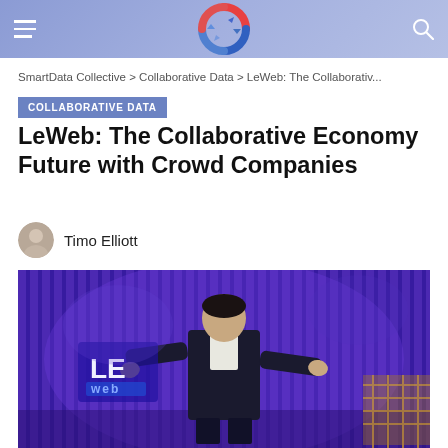SmartData Collective — Navigation header with logo
SmartData Collective > Collaborative Data > LeWeb: The Collaborativ...
COLLABORATIVE DATA
LeWeb: The Collaborative Economy Future with Crowd Companies
Timo Elliott
[Figure (photo): Man in dark suit presenting on stage with purple LED backdrop and LeWeb logo visible]